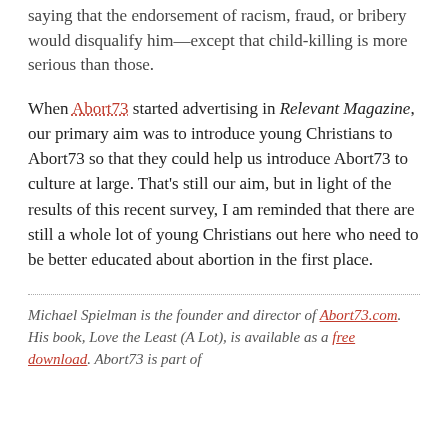saying that the endorsement of racism, fraud, or bribery would disqualify him—except that child-killing is more serious than those.
When Abort73 started advertising in Relevant Magazine, our primary aim was to introduce young Christians to Abort73 so that they could help us introduce Abort73 to culture at large. That's still our aim, but in light of the results of this recent survey, I am reminded that there are still a whole lot of young Christians out here who need to be better educated about abortion in the first place.
Michael Spielman is the founder and director of Abort73.com. His book, Love the Least (A Lot), is available as a free download. Abort73 is part of